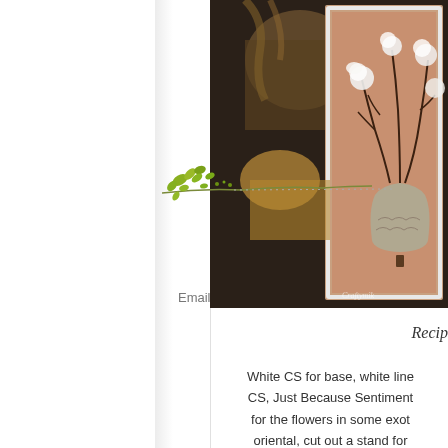[Figure (illustration): Decorative green branch/leaf illustration with dotted line extending to the right, used as sidebar decoration]
Email Me
[Figure (photo): Photo of a handmade card featuring a vase with flowers/branches on pink/coral cardstock, with a cat visible in the background. Watermark reads 'Craftymik' in bottom right.]
Recip
White CS for base, white line CS, Just Because Sentiment for the flowers in some exot oriental, cut out a stand for